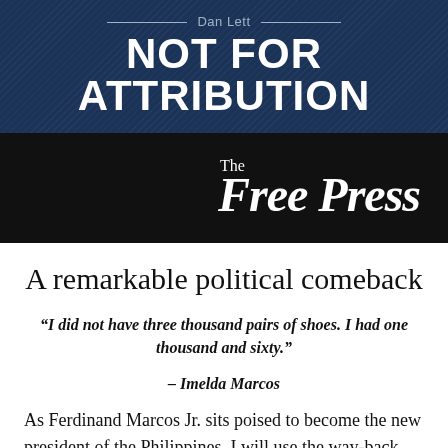Dan Lett — NOT FOR ATTRIBUTION
[Figure (logo): The Free Press newspaper logo in white on black background]
A remarkable political comeback
“I did not have three thousand pairs of shoes. I had one thousand and sixty.” – Imelda Marcos
As Ferdinand Marcos Jr. sits poised to become the new president of the Philippines, I will use the way-back machine and recall a chance visit with Imelda and my indoctrination into Philippino politics